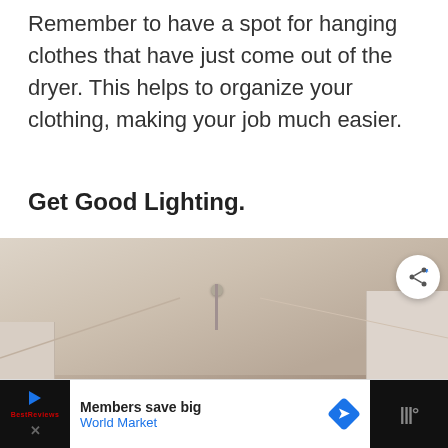Remember to have a spot for hanging clothes that have just come out of the dryer. This helps to organize your clothing, making your job much easier.
Get Good Lighting.
[Figure (photo): Interior hallway or room photo showing a ceiling with a chandelier/light fixture hanging down, and white wall panels on the sides. A share button and 'What's Next' panel with thumbnail are overlaid on the image.]